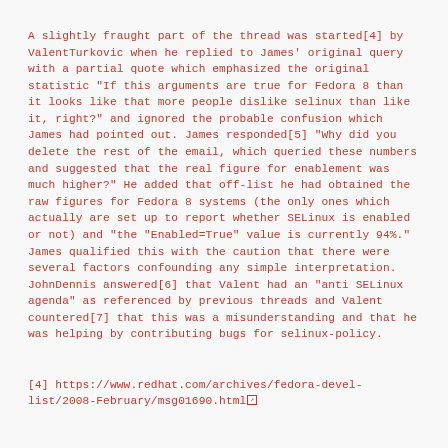A slightly fraught part of the thread was started[4] by ValentTurkovic when he replied to James' original query with a partial quote which emphasized the original statistic "If this arguments are true for Fedora 8 than it looks like that more people dislike selinux than like it, right?" and ignored the probable confusion which James had pointed out. James responded[5] "Why did you delete the rest of the email, which queried these numbers and suggested that the real figure for enablement was much higher?" He added that off-list he had obtained the raw figures for Fedora 8 systems (the only ones which actually are set up to report whether SELinux is enabled or not) and "the "Enabled=True" value is currently 94%." James qualified this with the caution that there were several factors confounding any simple interpretation. JohnDennis answered[6] that Valent had an "anti SELinux agenda" as referenced by previous threads and Valent countered[7] that this was a misunderstanding and that he was helping by contributing bugs for selinux-policy.
[4] https://www.redhat.com/archives/fedora-devel-list/2008-February/msg01690.html